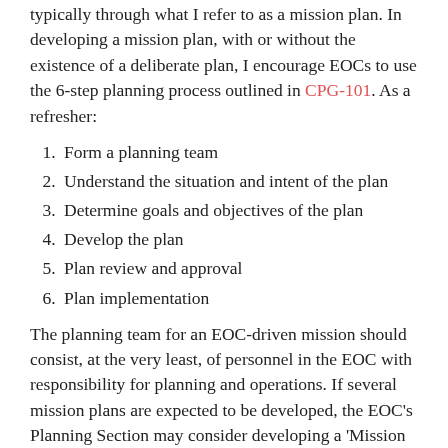typically through what I refer to as a mission plan. In developing a mission plan, with or without the existence of a deliberate plan, I encourage EOCs to use the 6-step planning process outlined in CPG-101. As a refresher:
Form a planning team
Understand the situation and intent of the plan
Determine goals and objectives of the plan
Develop the plan
Plan review and approval
Plan implementation
The planning team for an EOC-driven mission should consist, at the very least, of personnel in the EOC with responsibility for planning and operations. If several mission plans are expected to be developed, the EOC's Planning Section may consider developing a 'Mission